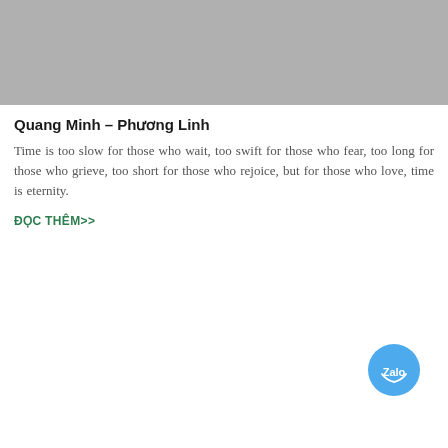[Figure (photo): Gray image placeholder at top of article card]
Quang Minh – Phương Linh
Time is too slow for those who wait, too swift for those who fear, too long for those who grieve, too short for those who rejoice, but for those who love, time is eternity.
ĐỌC THÊM>>
[Figure (logo): Zalo blue circular button icon in bottom right corner]